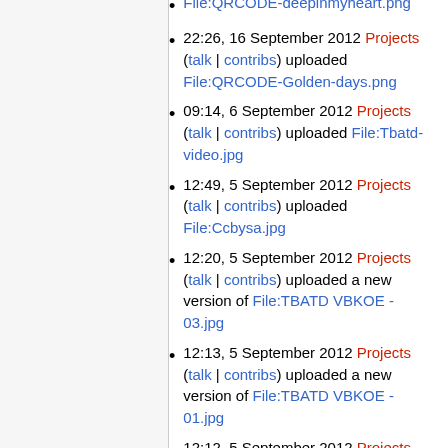File:QRCODE-deepinmyheart.png
22:26, 16 September 2012 Projects (talk | contribs) uploaded File:QRCODE-Golden-days.png
09:14, 6 September 2012 Projects (talk | contribs) uploaded File:Tbatd-video.jpg
12:49, 5 September 2012 Projects (talk | contribs) uploaded File:Ccbysa.jpg
12:20, 5 September 2012 Projects (talk | contribs) uploaded a new version of File:TBATD VBKOE - 03.jpg
12:13, 5 September 2012 Projects (talk | contribs) uploaded a new version of File:TBATD VBKOE - 01.jpg
12:12, 5 September 2012 Projects (talk | contribs) uploaded a new